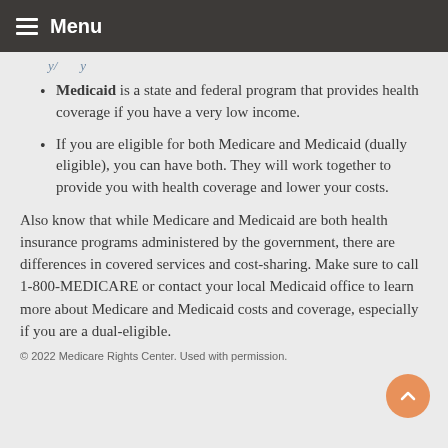Menu
y/...y
Medicaid is a state and federal program that provides health coverage if you have a very low income.
If you are eligible for both Medicare and Medicaid (dually eligible), you can have both. They will work together to provide you with health coverage and lower your costs.
Also know that while Medicare and Medicaid are both health insurance programs administered by the government, there are differences in covered services and cost-sharing. Make sure to call 1-800-MEDICARE or contact your local Medicaid office to learn more about Medicare and Medicaid costs and coverage, especially if you are a dual-eligible.
© 2022 Medicare Rights Center. Used with permission.